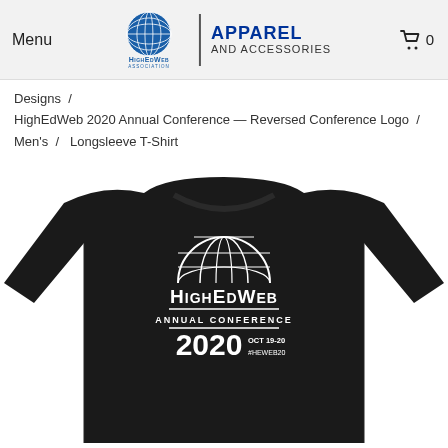Menu | APPAREL AND ACCESSORIES | 0
Designs / HighEdWeb 2020 Annual Conference — Reversed Conference Logo / Men's / Longsleeve T-Shirt
[Figure (photo): Black longsleeve t-shirt with white HighEdWeb Annual Conference 2020 logo printed on the chest. Logo shows a globe graphic above text reading HighEdWeb Annual Conference 2020 OCT 19-20 #HEWEB20.]